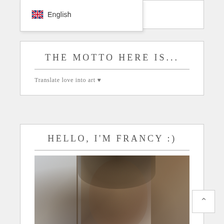[Figure (screenshot): Language selector dropdown showing UK flag and 'English' text]
THE MOTTO HERE IS...
Translate love into art ♥
HELLO, I'M FRANCY :)
[Figure (photo): Portrait photo of a young woman with dark hair, blurred background with warm tones]